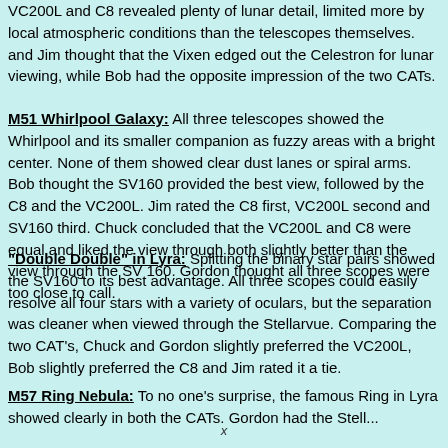VC200L and C8 revealed plenty of lunar detail, limited more by local atmospheric conditions than the telescopes themselves. and Jim thought that the Vixen edged out the Celestron for lunar viewing, while Bob had the opposite impression of the two CATs.
M51 Whirlpool Galaxy: All three telescopes showed the Whirlpool and its smaller companion as fuzzy areas with a bright center. None of them showed clear dust lanes or spiral arms. Bob thought the SV160 provided the best view, followed by the C8 and the VC200L. Jim rated the C8 first, VC200L second and SV160 third. Chuck concluded that the VC200L and C8 were equal and liked the view through both slightly better than the view through the SV 160. Gordon thought all three scopes were too close to call.
"Double Double" in Lyra: Splitting the binary star pairs showed the SV160 to its best advantage. All three scopes could easily resolve all four stars with a variety of oculars, but the separation was cleaner when viewed through the Stellarvue. Comparing the two CAT's, Chuck and Gordon slightly preferred the VC200L, Bob slightly preferred the C8 and Jim rated it a tie.
M57 Ring Nebula: To no one's surprise, the famous Ring in Lyra showed clearly in both the CATs. Gordon had the Stell...
x